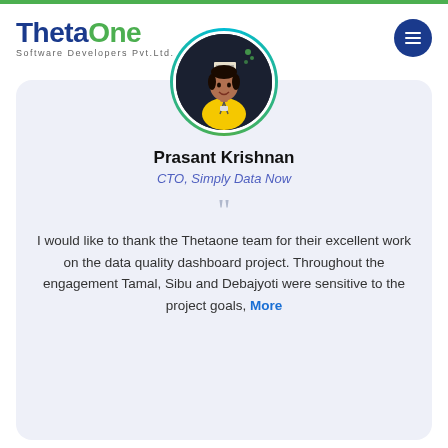[Figure (logo): ThetaOne Software Developers Pvt.Ltd. logo with blue and green text]
[Figure (photo): Circular profile photo of Prasant Krishnan with teal/green gradient border ring]
Prasant Krishnan
CTO, Simply Data Now
I would like to thank the Thetaone team for their excellent work on the data quality dashboard project. Throughout the engagement Tamal, Sibu and Debajyoti were sensitive to the project goals, More